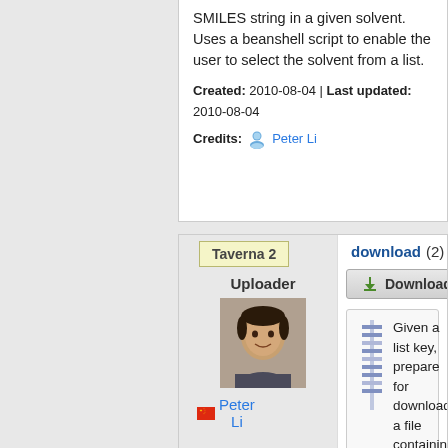SMILES string in a given solvent. Uses a beanshell script to enable the user to select the solvent from a list.
Created: 2010-08-04 | Last updated: 2010-08-04
Credits: Peter Li
Taverna 2
Uploader
[Figure (photo): Photo of uploader Peter Li]
Peter Li
download (2)
Download
Given a list key, prepare for download a file containing those records in the selected format. The original workflow was written by the PubChem team @ NCBI.